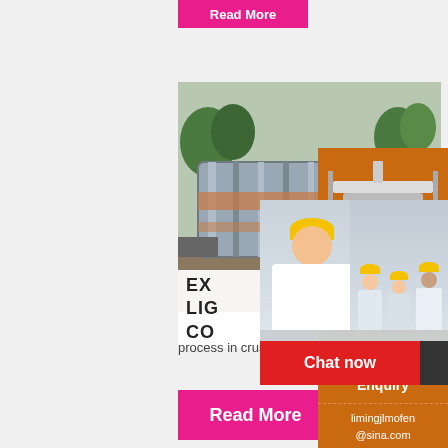[Figure (screenshot): Pink 'Read More' button at top]
[Figure (photo): Industrial machinery/ball mill in outdoor setting with trees]
EX... LIG... CO...
[Figure (infographic): Live Chat popup overlay with smiling engineer in helmet, text LIVE CHAT, Click for a Free Consultation, Chat now and Chat later buttons]
[Figure (infographic): Orange right sidebar with crusher machine images, Enjoy 3% discount, Click to Chat, Enquiry, limingjlmofen@sina.com]
process in crusher units. It is also used a...
[Figure (screenshot): Pink 'Read More' button at bottom]